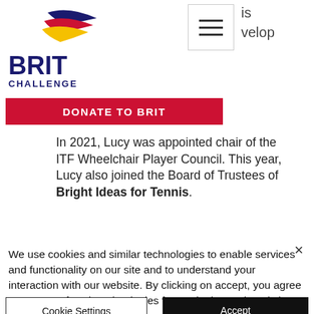[Figure (logo): BRIT CHALLENGE logo with colorful swoosh graphic above bold blue BRIT text and CHALLENGE text below]
[Figure (other): Hamburger menu icon (three horizontal lines) in a bordered box]
is
velop
[Figure (other): Red donate button reading DONATE TO BRIT]
In 2021, Lucy was appointed chair of the ITF Wheelchair Player Council. This year, Lucy also joined the Board of Trustees of Bright Ideas for Tennis.
We use cookies and similar technologies to enable services and functionality on our site and to understand your interaction with our website. By clicking on accept, you agree to our use of such technologies for marketing and analytics. See Privacy Policy
Cookie Settings
Accept